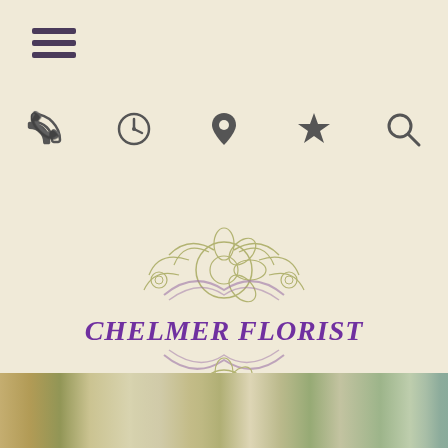[Figure (other): Hamburger menu icon (three horizontal lines) in dark purple/grey]
[Figure (other): Navigation icon bar with phone, clock, location pin, star, and search icons in dark grey]
[Figure (logo): Chelmer Florist logo: decorative floral mandala illustration in olive green with text 'CHELMER FLORIST' in purple italic script in the center]
[Figure (photo): Horizontal photo strip at bottom showing flowers and foliage]